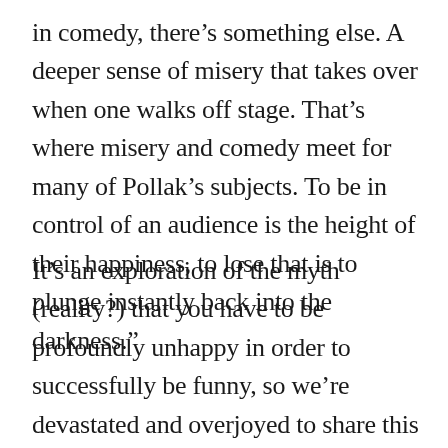in comedy, there’s something else. A deeper sense of misery that takes over when one walks off stage. That’s where misery and comedy meet for many of Pollak’s subjects. To be in control of an audience is the height of their happiness, to lose that is to plunge instantly back into the darkness.”
It’s an exploration of the myth (reality?) that you have to be profoundly unhappy in order to successfully be funny, so we’re devastated and overjoyed to share this brief clip where Christopher Guest describes a childhood revelation that had nothing to do with seeking attention. Headphones are recommended